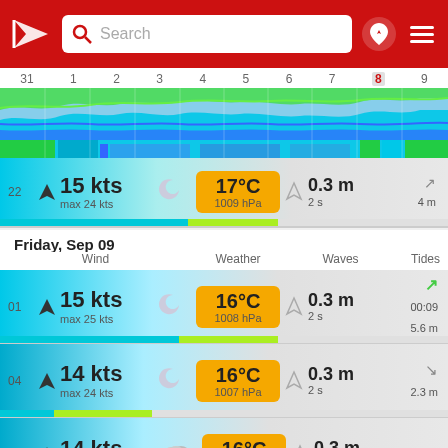[Figure (screenshot): Weather/wind forecast app header with red background, Windy logo, search bar, and navigation icons]
[Figure (area-chart): Timeline chart showing wind/weather forecast from day 31 to day 9, with wave-like colored areas in cyan, green, blue]
22  15 kts  max 24 kts  17°C  1009 hPa  0.3 m  2 s  4 m
Friday, Sep 09
Wind  Weather  Waves  Tides
01  15 kts  max 25 kts  16°C  1008 hPa  0.3 m  2 s  00:09  5.6 m
04  14 kts  max 24 kts  16°C  1007 hPa  0.3 m  2 s  2.3 m
07  14 kts  max 21 kts  16°C  1006 hPa  0.3 m  2 s